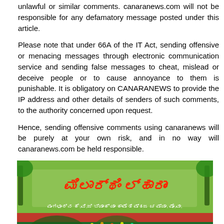unlawful or similar comments. canaranews.com will not be responsible for any defamatory message posted under this article.
Please note that under 66A of the IT Act, sending offensive or menacing messages through electronic communication service and sending false messages to cheat, mislead or deceive people or to cause annoyance to them is punishable. It is obligatory on CANARANEWS to provide the IP address and other details of senders of such comments, to the authority concerned upon request.
Hence, sending offensive comments using canaranews will be purely at your own risk, and in no way will canaranews.com be held responsible.
[Figure (photo): Promotional banner image with Kannada/Telugu script text and a group photo of people dressed in formal and colorful attire, standing in front of a decorative outdoor setting with palm trees and lights.]